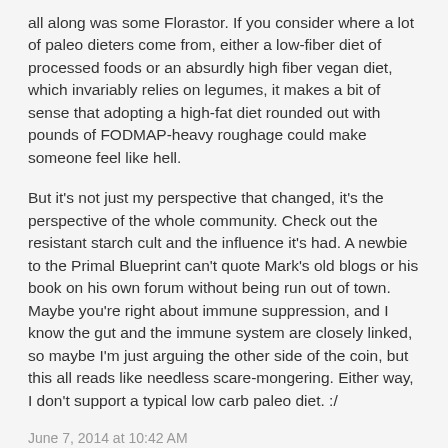all along was some Florastor. If you consider where a lot of paleo dieters come from, either a low-fiber diet of processed foods or an absurdly high fiber vegan diet, which invariably relies on legumes, it makes a bit of sense that adopting a high-fat diet rounded out with pounds of FODMAP-heavy roughage could make someone feel like hell.
But it's not just my perspective that changed, it's the perspective of the whole community. Check out the resistant starch cult and the influence it's had. A newbie to the Primal Blueprint can't quote Mark's old blogs or his book on his own forum without being run out of town. Maybe you're right about immune suppression, and I know the gut and the immune system are closely linked, so maybe I'm just arguing the other side of the coin, but this all reads like needless scare-mongering. Either way, I don't support a typical low carb paleo diet. :/
June 7, 2014 at 10:42 AM